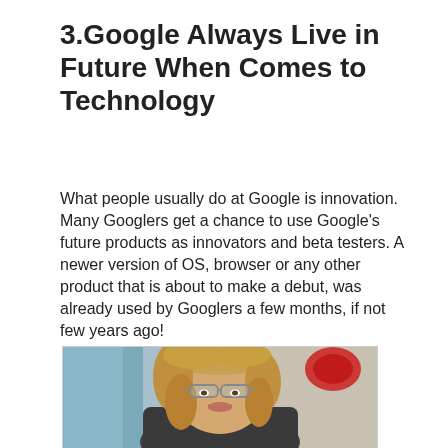3.Google Always Live in Future When Comes to Technology
What people usually do at Google is innovation. Many Googlers get a chance to use Google’s future products as innovators and beta testers. A newer version of OS, browser or any other product that is about to make a debut, was already used by Googlers a few months, if not few years ago!
[Figure (photo): A woman wearing Google Glass smart glasses, smiling, with curly blonde hair, outdoors with blurred background including a red sign.]